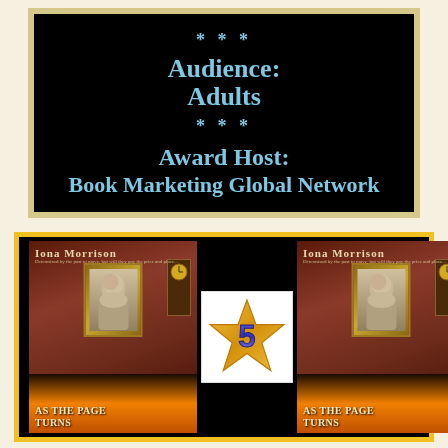[Figure (infographic): Black banner with light blue bold text showing stars, Audience: Adults, stars, Award Host: Book Marketing Global Network]
[Figure (infographic): Black banner with yellow border showing two book covers of 'As the Page Turns' by Iona Morrison and a 5-star badge in the center]